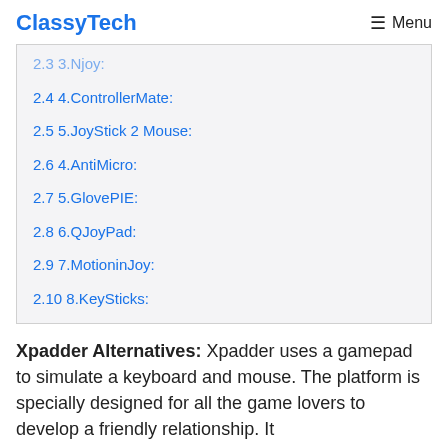ClassyTech  ☰ Menu
2.3 3.Njoy:
2.4 4.ControllerMate:
2.5 5.JoyStick 2 Mouse:
2.6 4.AntiMicro:
2.7 5.GlovePIE:
2.8 6.QJoyPad:
2.9 7.MotioninJoy:
2.10 8.KeySticks:
Xpadder Alternatives: Xpadder uses a gamepad to simulate a keyboard and mouse. The platform is specially designed for all the game lovers to develop a friendly relationship. It